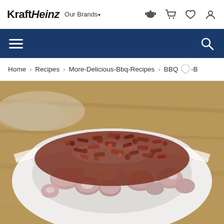Kraft Heinz - Our Brands navigation bar with icons
Navigation menu bar with hamburger menu and search
Breadcrumb: Home > Recipes > More-Delicious-Bbq-Recipes > BBQ Chil-B
[Figure (photo): A white bowl filled with BBQ potato salad topped with crumbled bacon bits, corn kernels, and red potatoes, served on a wooden surface]